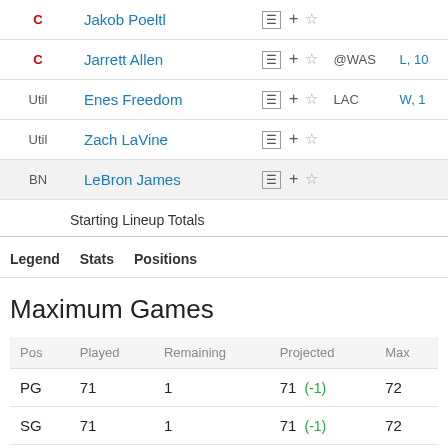| Pos | Player |  |  |
| --- | --- | --- | --- |
| C | Jakob Poeltl | ☰ + ☆ |  |
| C | Jarrett Allen | ☰ + ☆ | @WAS L, 10 |
| Util | Enes Freedom | ☰ + ☆ | LAC W, 1 |
| Util | Zach LaVine | ☰ + ☆ |  |
| BN | LeBron James | ☰ + ☆ |  |
Starting Lineup Totals
Legend   Stats   Positions
Maximum Games
| Pos | Played | Remaining | Projected | Max |
| --- | --- | --- | --- | --- |
| PG | 71 | 1 | 71 (-1) | 72 |
| SG | 71 | 1 | 71 (-1) | 72 |